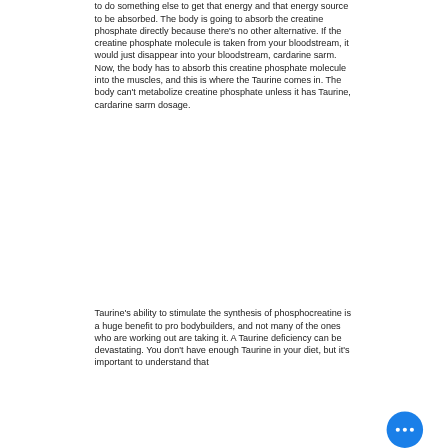to do something else to get that energy and that energy source to be absorbed. The body is going to absorb the creatine phosphate directly because there's no other alternative. If the creatine phosphate molecule is taken from your bloodstream, it would just disappear into your bloodstream, cardarine sarm. Now, the body has to absorb this creatine phosphate molecule into the muscles, and this is where the Taurine comes in. The body can't metabolize creatine phosphate unless it has Taurine, cardarine sarm dosage.
Taurine's ability to stimulate the synthesis of phosphocreatine is a huge benefit to pro bodybuilders, and not many of the ones who are working out are taking it. A Taurine deficiency can be devastating. You don't have enough Taurine in your diet, but it's important to understand that